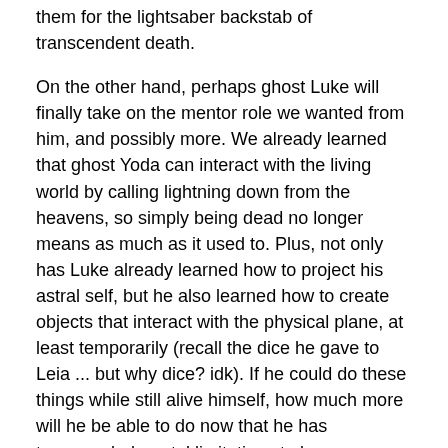them for the lightsaber backstab of transcendent death.
On the other hand, perhaps ghost Luke will finally take on the mentor role we wanted from him, and possibly more. We already learned that ghost Yoda can interact with the living world by calling lightning down from the heavens, so simply being dead no longer means as much as it used to. Plus, not only has Luke already learned how to project his astral self, but he also learned how to create objects that interact with the physical plane, at least temporarily (recall the dice he gave to Leia ... but why dice? idk). If he could do these things while still alive himself, how much more will he be able to do now that he has transcended mortal limitations to become one with the Force? He could probably spirit himself around to everywhere and interact with all manner of physical items, buttons, controls, doors, blasters, starfighters, lightsabers, on and on. Perhaps Force Ghost Luke Skywalker has ascended to omnipotent godhood status, with the ability to do anything. But with his newfound omniscience, will he be actually motivated to do anything to help those still toiling about in their physical existence?
But back up a minute. Why did Yoda call down the lightning or...